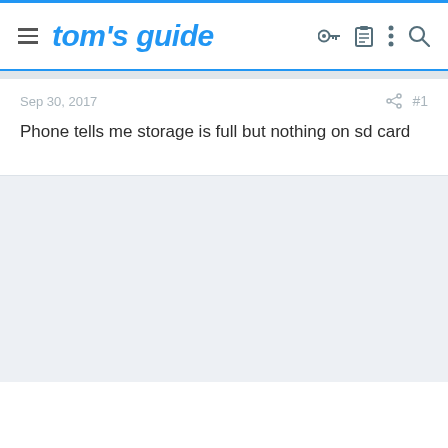tom's guide
Sep 30, 2017
#1
Phone tells me storage is full but nothing on sd card